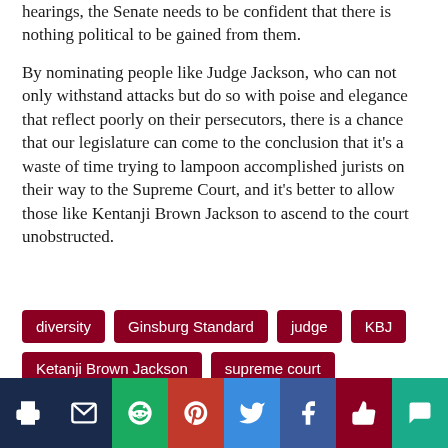hearings, the Senate needs to be confident that there is nothing political to be gained from them.
By nominating people like Judge Jackson, who can not only withstand attacks but do so with poise and elegance that reflect poorly on their persecutors, there is a chance that our legislature can come to the conclusion that it's a waste of time trying to lampoon accomplished jurists on their way to the Supreme Court, and it's better to allow those like Kentanji Brown Jackson to ascend to the court unobstructed.
diversity
Ginsburg Standard
judge
KBJ
Ketanji Brown Jackson
supreme court
Leave a Comment
[Figure (infographic): Social media sharing bar with icons for print, email, Reddit, Pinterest, Twitter, Facebook, like, and comment]